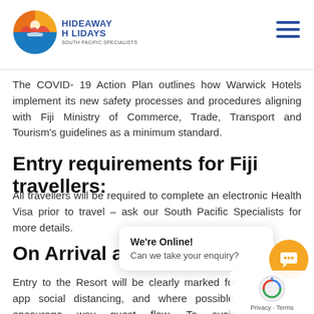Hideaway Holidays logo and navigation
The COVID-19 Action Plan outlines how Warwick Hotels implement its new safety processes and procedures aligning with Fiji Ministry of Commerce, Trade, Transport and Tourism's guidelines as a minimum standard.
Entry requirements for Fiji travellers:
All travellers will be required to complete an electronic Health Visa prior to travel – ask our South Pacific Specialists for more details.
On Arrival at
Entry to the Resort will be clearly marked for app social distancing, and where possible, encourage way guest flow. To avoid overcrowding at check-in, guests